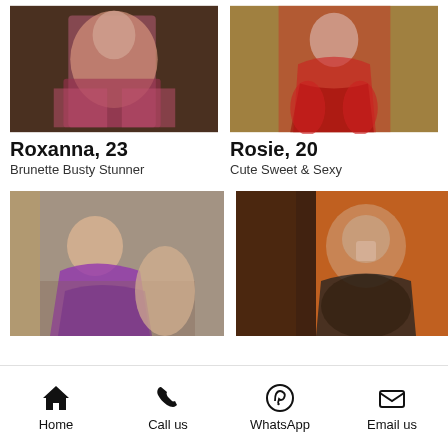[Figure (photo): Photo of Roxanna, woman in pink lingerie posed on dark surface]
[Figure (photo): Photo of Rosie, woman in red bodysuit/fishnet on steps]
Roxanna, 23
Brunette Busty Stunner
Rosie, 20
Cute Sweet & Sexy
[Figure (photo): Photo of woman in purple lingerie in bathroom]
[Figure (photo): Photo of woman with blurred face in dark top]
Home  Call us  WhatsApp  Email us